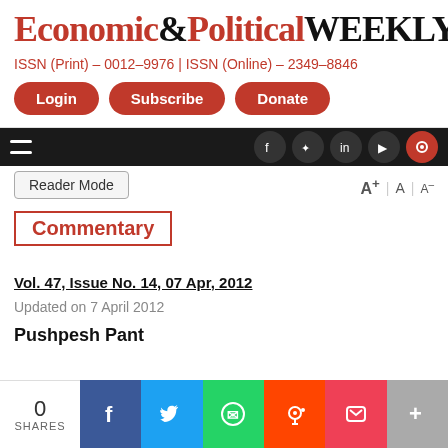Economic&PoliticalWEEKLY
ISSN (Print) - 0012-9976 | ISSN (Online) - 2349-8846
Login | Subscribe | Donate
Commentary
Vol. 47, Issue No. 14, 07 Apr, 2012
Updated on 7 April 2012
Pushpesh Pant
0 SHARES